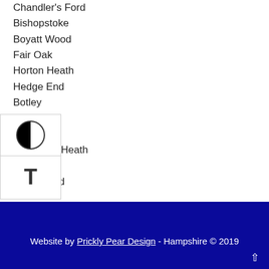Chandler's Ford
Bishopstoke
Boyatt Wood
Fair Oak
Horton Heath
Hedge End
Botley
Bursledon
Hamble
Netlock's Heath
Botley
West End
Website by Prickly Pear Design - Hampshire © 2019